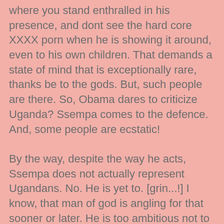where you stand enthralled in his presence, and dont see the hard core XXXX porn when he is showing it around, even to his own children. That demands a state of mind that is exceptionally rare, thanks be to the gods. But, such people are there. So, Obama dares to criticize Uganda? Ssempa comes to the defence. And, some people are ecstatic!

By the way, despite the way he acts, Ssempa does not actually represent Ugandans. No. He is yet to. [grin...!] I know, that man of god is angling for that sooner or later. He is too ambitious not to go for it. Even the very presidency. But, for now, he is not an elected leader of my beautiful Uganda. So help the deities.

For Christian Prayer breakfasts, which I do not intend to attend, (do